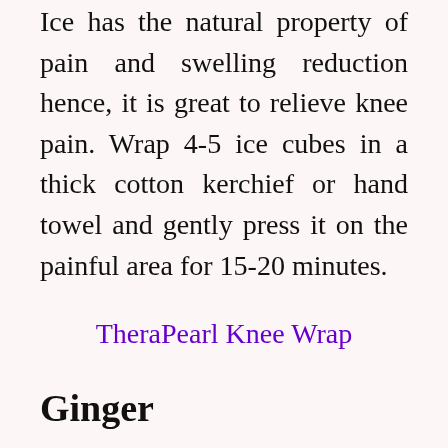Ice has the natural property of pain and swelling reduction hence, it is great to relieve knee pain. Wrap 4-5 ice cubes in a thick cotton kerchief or hand towel and gently press it on the painful area for 15-20 minutes.
TheraPearl Knee Wrap
Ginger
It has inflammatory properties due to which it is good for reducing the